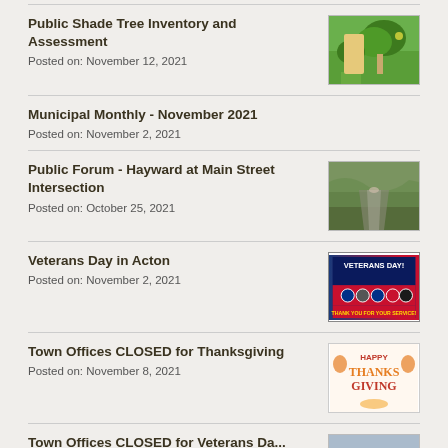Public Shade Tree Inventory and Assessment
Posted on: November 12, 2021
[Figure (photo): Outdoor photo showing trees and a person in a park or yard setting with green grass]
Municipal Monthly - November 2021
Posted on: November 2, 2021
Public Forum - Hayward at Main Street Intersection
Posted on: October 25, 2021
[Figure (photo): Aerial photo of an intersection or road area with trees and vegetation]
Veterans Day in Acton
Posted on: November 2, 2021
[Figure (photo): Veterans Day banner with text VETERANS DAY! THANK YOU FOR YOUR SERVICE! with military branch emblems on blue and red background]
Town Offices CLOSED for Thanksgiving
Posted on: November 8, 2021
[Figure (photo): Happy Thanksgiving graphic with orange and red autumn decorations]
Town Offices CLOSED for Veterans Da...